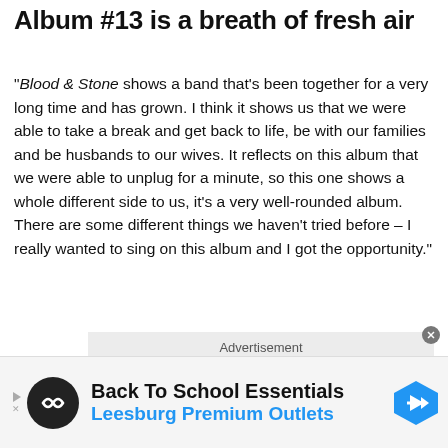Album #13 is a breath of fresh air
“Blood & Stone shows a band that’s been together for a very long time and has grown. I think it shows us that we were able to take a break and get back to life, be with our families and be husbands to our wives. It reflects on this album that we were able to unplug for a minute, so this one shows a whole different side to us, it’s a very well-rounded album. There are some different things we haven’t tried before – I really wanted to sing on this album and I got the opportunity.”
[Figure (other): Advertisement placeholder box with label 'Advertisement']
[Figure (other): Ad banner: Back To School Essentials - Leesburg Premium Outlets with logo and navigation arrow icon]